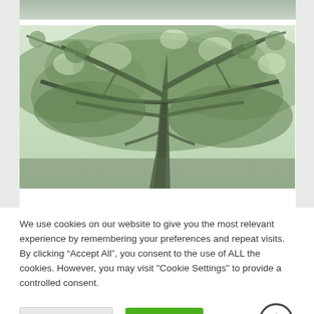[Figure (photo): Photograph of tree branches with green leaves viewed from below, teal/green toned image]
We use cookies on our website to give you the most relevant experience by remembering your preferences and repeat visits. By clicking “Accept All”, you consent to the use of ALL the cookies. However, you may visit "Cookie Settings" to provide a controlled consent.
Cookie Settings | Accept All